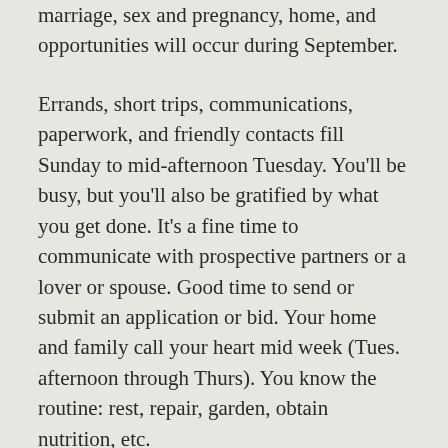marriage, sex and pregnancy, home, and opportunities will occur during September.
Errands, short trips, communications, paperwork, and friendly contacts fill Sunday to mid-afternoon Tuesday. You'll be busy, but you'll also be gratified by what you get done. It's a fine time to communicate with prospective partners or a lover or spouse. Good time to send or submit an application or bid. Your home and family call your heart mid week (Tues. afternoon through Thurs). You know the routine: rest, repair, garden, obtain nutrition, etc.
Thursday presents problems, but Tues. eve through Wed. morning offer success, especially in relationships, family interactions, and, oddly, in career. A splendid time to start an education fond for the children. Friday/Saturday is...